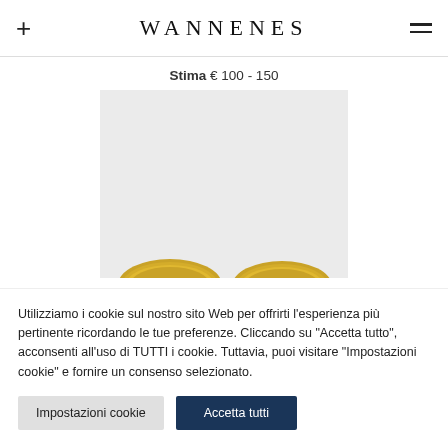WANNENES
Stima € 100 - 150
[Figure (photo): Two gold coins photographed on a light grey background, partially visible at bottom of frame.]
Utilizziamo i cookie sul nostro sito Web per offrirti l'esperienza più pertinente ricordando le tue preferenze. Cliccando su "Accetta tutto", acconsenti all'uso di TUTTI i cookie. Tuttavia, puoi visitare "Impostazioni cookie" e fornire un consenso selezionato.
Impostazioni cookie
Accetta tutti